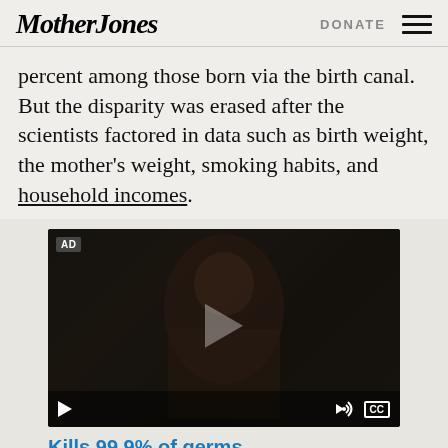Mother Jones | DONATE
percent among those born via the birth canal. But the disparity was erased after the scientists factored in data such as birth weight, the mother's weight, smoking habits, and household incomes.
[Figure (screenshot): Video advertisement with AD badge in top left, play button overlay in center, video controls bar at bottom with play, volume, and CC buttons. Dark video frame showing a person.]
Kills 99.9% of germs on 100s of surfaces*